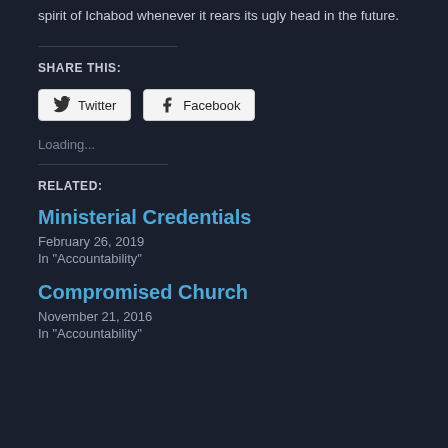spirit of Ichabod whenever it rears its ugly head in the future.
SHARE THIS:
Twitter  Facebook
Loading...
RELATED:
Ministerial Credentials
February 26, 2019
In "Accountability"
Compromised Church
November 21, 2016
In "Accountability"